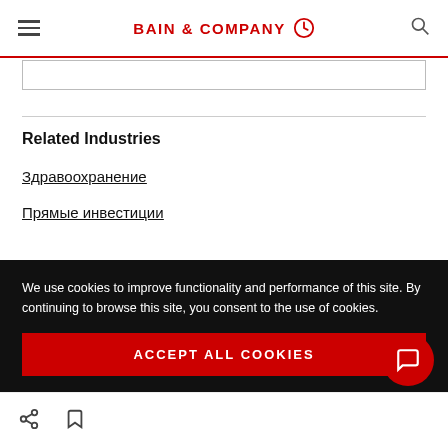BAIN & COMPANY
Related Industries
Здравоохранение
Прямые инвестиции
We use cookies to improve functionality and performance of this site. By continuing to browse this site, you consent to the use of cookies.
ACCEPT ALL COOKIES